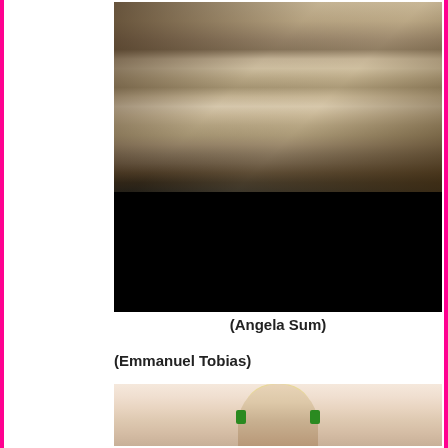[Figure (photo): Fashion runway photo showing models walking in neutral/beige outfits, legs visible, upper half fades to black]
(Angela Sum)
(Emmanuel Tobias)
[Figure (photo): Blonde female model with green earrings against a light pink/peach background]